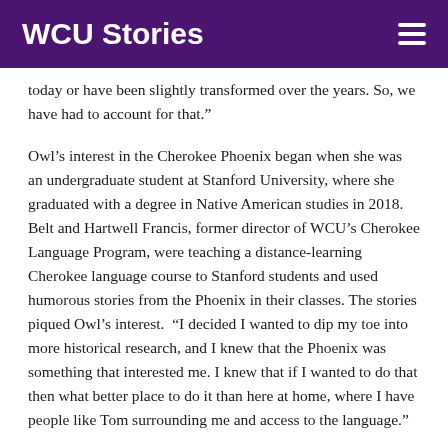WCU Stories
today or have been slightly transformed over the years. So, we have had to account for that.”
Owl’s interest in the Cherokee Phoenix began when she was an undergraduate student at Stanford University, where she graduated with a degree in Native American studies in 2018. Belt and Hartwell Francis, former director of WCU’s Cherokee Language Program, were teaching a distance-learning Cherokee language course to Stanford students and used humorous stories from the Phoenix in their classes. The stories piqued Owl’s interest.  “I decided I wanted to dip my toe into more historical research, and I knew that the Phoenix was something that interested me. I knew that if I wanted to do that then what better place to do it than here at home, where I have people like Tom surrounding me and access to the language.”